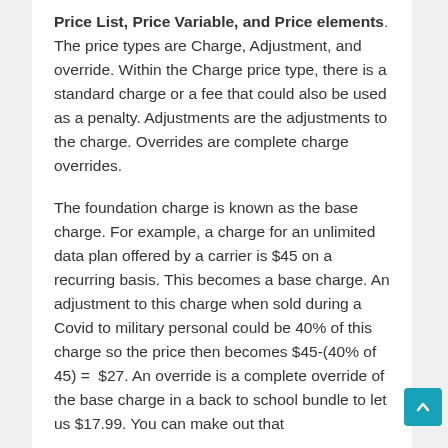Price List, Price Variable, and Price elements. The price types are Charge, Adjustment, and override. Within the Charge price type, there is a standard charge or a fee that could also be used as a penalty. Adjustments are the adjustments to the charge. Overrides are complete charge overrides.
The foundation charge is known as the base charge. For example, a charge for an unlimited data plan offered by a carrier is $45 on a recurring basis. This becomes a base charge. An adjustment to this charge when sold during a Covid to military personal could be 40% of this charge so the price then becomes $45-(40% of 45) =  $27. An override is a complete override of the base charge in a back to school bundle to let us $17.99. You can make out that